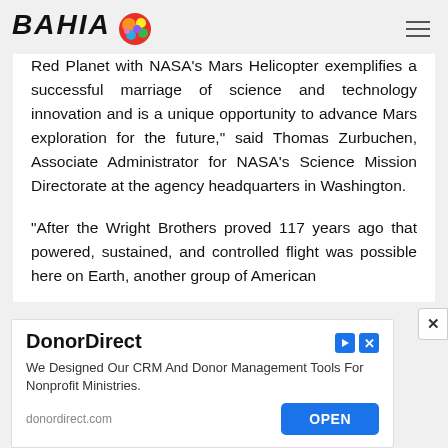BAHIA [logo]
Red Planet with NASA's Mars Helicopter exemplifies a successful marriage of science and technology innovation and is a unique opportunity to advance Mars exploration for the future," said Thomas Zurbuchen, Associate Administrator for NASA's Science Mission Directorate at the agency headquarters in Washington.
“After the Wright Brothers proved 117 years ago that powered, sustained, and controlled flight was possible here on Earth, another group of American
[Figure (infographic): DonorDirect advertisement banner with title 'DonorDirect', body text 'We Designed Our CRM And Donor Management Tools For Nonprofit Ministries.', URL 'donordirect.com', and an OPEN button.]